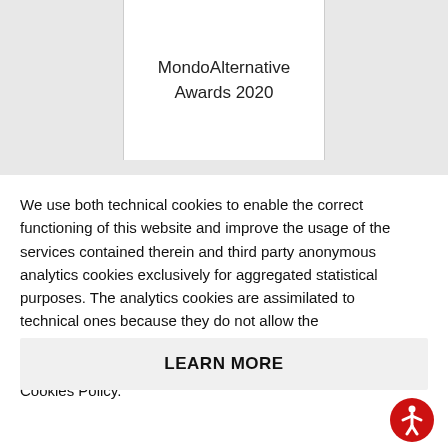MondoAlternative Awards 2020
We use both technical cookies to enable the correct functioning of this website and improve the usage of the services contained therein and third party anonymous analytics cookies exclusively for aggregated statistical purposes. The analytics cookies are assimilated to technical ones because they do not allow the identification of individuals, therefore no consent is required. For further information, please consult our Cookies Policy.
LEARN MORE